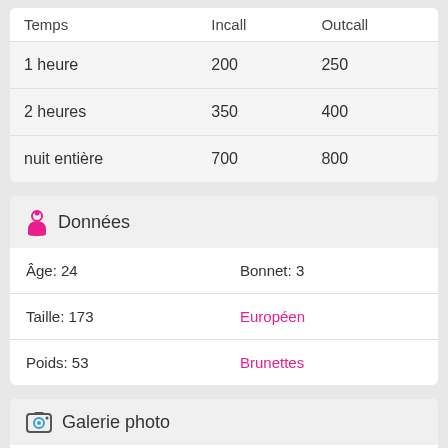| Temps | Incall | Outcall |
| --- | --- | --- |
| 1 heure | 200 | 250 |
| 2 heures | 350 | 400 |
| nuit entière | 700 | 800 |
Données
| Âge: 24 | Bonnet: 3 |
| Taille: 173 | Européen |
| Poids: 53 | Brunettes |
Galerie photo
[Figure (photo): Thumbnail photos in gallery section]